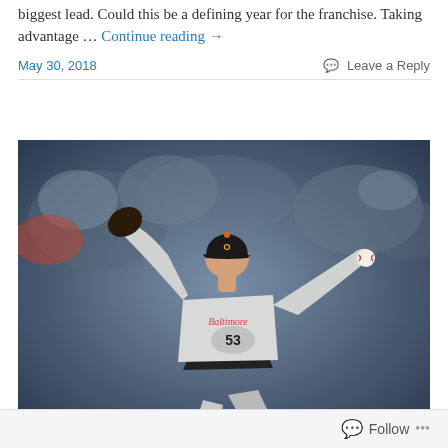biggest lead. Could this be a defining year for the franchise. Taking advantage … Continue reading →
May 30, 2018
Leave a Reply
[Figure (photo): Baltimore Orioles pitcher number 53 in a gray away uniform mid-windup delivery stance, photographed in front of a blurred crowd background]
Follow